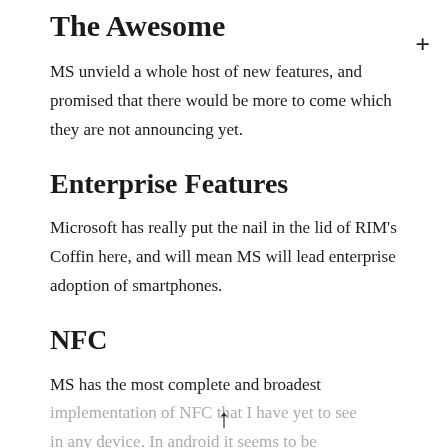The Awesome
MS unvield a whole host of new features, and promised that there would be more to come which they are not announcing yet.
Enterprise Features
Microsoft has really put the nail in the lid of RIM's Coffin here, and will mean MS will lead enterprise adoption of smartphones.
NFC
MS has the most complete and broadest implementation of NFC that I have yet to see in any device. In android it seems to be